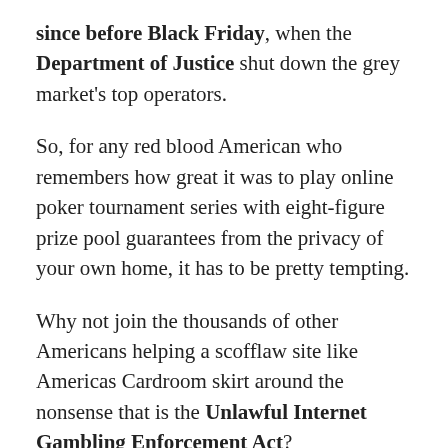since before Black Friday, when the Department of Justice shut down the grey market's top operators.
So, for any red blood American who remembers how great it was to play online poker tournament series with eight-figure prize pool guarantees from the privacy of your own home, it has to be pretty tempting.
Why not join the thousands of other Americans helping a scofflaw site like Americas Cardroom skirt around the nonsense that is the Unlawful Internet Gambling Enforcement Act?
In truth, there are several reasons, with the sites inability to protect itself from DDoS attack, or go